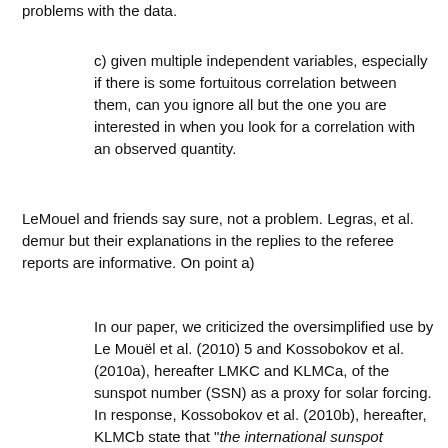problems with the data.
c) given multiple independent variables, especially if there is some fortuitous correlation between them, can you ignore all but the one you are interested in when you look for a correlation with an observed quantity.
LeMouel and friends say sure, not a problem. Legras, et al. demur but their explanations in the replies to the referee reports are informative. On point a)
In our paper, we criticized the oversimplified use by Le Mouël et al. (2010) 5 and Kossobokov et al. (2010a), hereafter LMKC and KLMCa, of the sunspot number (SSN) as a proxy for solar forcing. In response, Kossobokov et al. (2010b), hereafter, KLMCb state that "the international sunspot numbers are the only and therefore, the best available proxy of solar activity in the last 250 years". This statement is wrong because other solar proxies cover this time period such as records of aurorae (e.g. Silverman 1992).